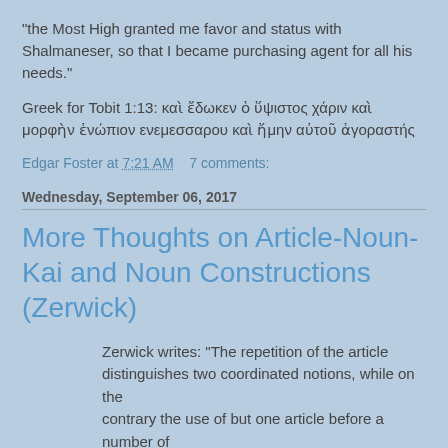"the Most High granted me favor and status with Shalmaneser, so that I became purchasing agent for all his needs."
Greek for Tobit 1:13: καὶ ἔδωκεν ὁ ὕψιστος χάριν καὶ μορφὴν ἐνώπιον ενεμεσσαρου καὶ ἤμην αὐτοῦ ἀγοραστής
Edgar Foster at 7:21 AM    7 comments:
Wednesday, September 06, 2017
More Thoughts on Article-Noun-Kai and Noun Constructions (Zerwick)
Zerwick writes: "The repetition of the article distinguishes two coordinated notions, while on the contrary the use of but one article before a number of